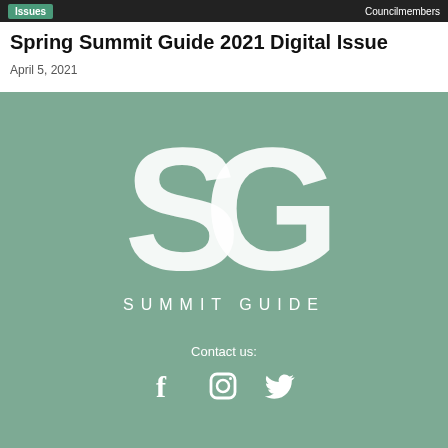Issues | Councilmembers
Spring Summit Guide 2021 Digital Issue
April 5, 2021
[Figure (logo): Summit Guide logo: large white 'SG' monogram with the text 'SUMMIT GUIDE' below, on a sage green background]
Contact us:
[Figure (illustration): Social media icons: Facebook, Instagram, Twitter in white on sage green background]